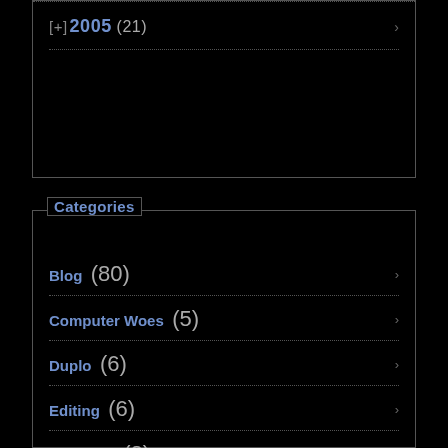[+] 2005 (21)
Categories
Blog (80)
Computer Woes (5)
Duplo (6)
Editing (6)
El Guapo (2)
Facial Hair (2)
Graduate School (19)